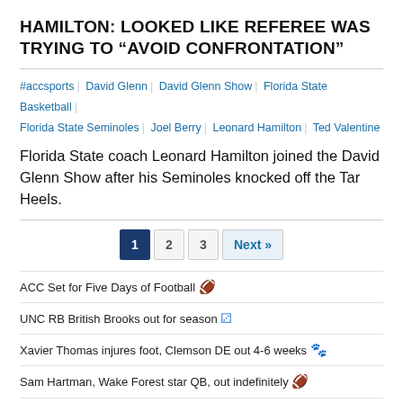HAMILTON: LOOKED LIKE REFEREE WAS TRYING TO “AVOID CONFRONTATION”
#accsports | David Glenn | David Glenn Show | Florida State Basketball | Florida State Seminoles | Joel Berry | Leonard Hamilton | Ted Valentine
Florida State coach Leonard Hamilton joined the David Glenn Show after his Seminoles knocked off the Tar Heels.
Pagination: 1 (active), 2, 3, Next »
ACC Set for Five Days of Football 🏈
UNC RB British Brooks out for season 🐾
Xavier Thomas injures foot, Clemson DE out 4-6 weeks 🐾
Sam Hartman, Wake Forest star QB, out indefinitely 🐾
2022 ACC Football Preseason Poll: Clemson, NC State viewed as Top 2 teams 🏈